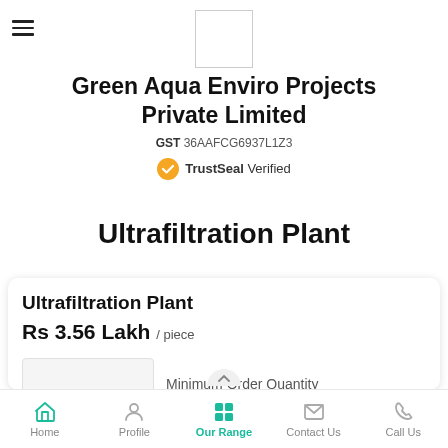[Figure (logo): Company logo placeholder box (white rectangle with border)]
Green Aqua Enviro Projects Private Limited
GST 36AAFCG6937L1Z3
TrustSeal Verified
Ultrafiltration Plant
Ultrafiltration Plant
Rs 3.56 Lakh / piece
Minimum Order Quantity
1 piece
Home | Profile | Our Range | Contact Us | Call Us